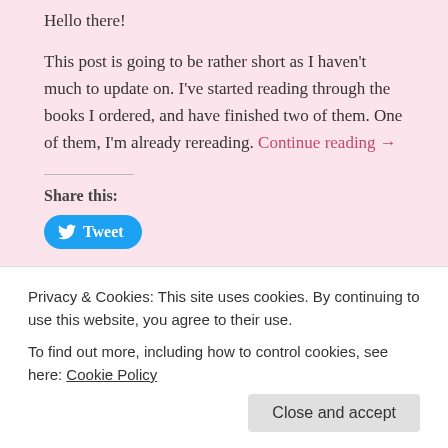Hello there!
This post is going to be rather short as I haven't much to update on. I've started reading through the books I ordered, and have finished two of them. One of them, I'm already rereading. Continue reading →
Share this:
[Figure (other): Tweet button (Twitter/X social share button)]
Loading...
This entry was posted on August 16, 2017, in a writer's tools, authorship, books, daily life, Heir Force, productivity, reading, writing and tagged beta readers, books, inspirational romance, James Scott Bell's Marketing For Writers Who Hate
Privacy & Cookies: This site uses cookies. By continuing to use this website, you agree to their use. To find out more, including how to control cookies, see here: Cookie Policy
Close and accept